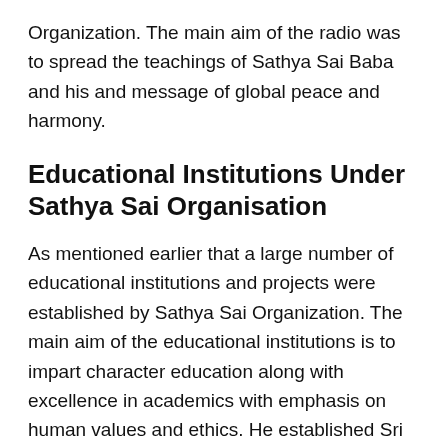Organization. The main aim of the radio was to spread the teachings of Sathya Sai Baba and his and message of global peace and harmony.
Educational Institutions Under Sathya Sai Organisation
As mentioned earlier that a large number of educational institutions and projects were established by Sathya Sai Organization. The main aim of the educational institutions is to impart character education along with excellence in academics with emphasis on human values and ethics. He established Sri Sathya Sai Institute of Higher Learning and Sri Sathya Sai Higher Secondary School.